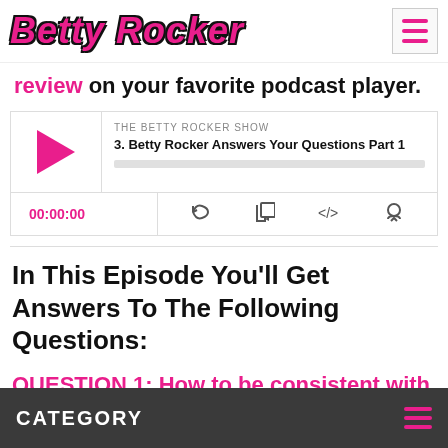Betty Rocker
review on your favorite podcast player.
[Figure (screenshot): Podcast player widget for 'The Betty Rocker Show' episode 3: Betty Rocker Answers Your Questions Part 1, showing play button, progress bar, timestamp 00:00:00 and control icons]
In This Episode You'll Get Answers To The Following Questions:
QUESTION 1: How to be consistent with your goals (and overcome excuses) (1:00)
CATEGORY